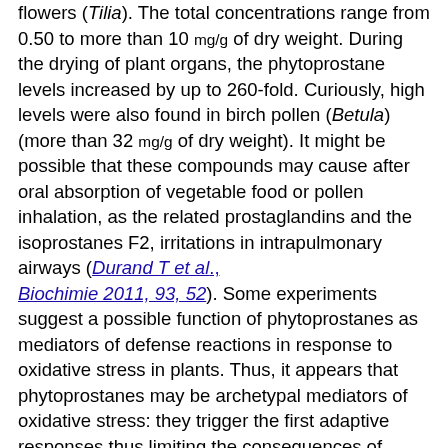flowers (Tilia). The total concentrations range from 0.50 to more than 10 mg/g of dry weight. During the drying of plant organs, the phytoprostane levels increased by up to 260-fold. Curiously, high levels were also found in birch pollen (Betula) (more than 32 mg/g of dry weight). It might be possible that these compounds may cause after oral absorption of vegetable food or pollen inhalation, as the related prostaglandins and the isoprostanes F2, irritations in intrapulmonary airways (Durand T et al., Biochimie 2011, 93, 52). Some experiments suggest a possible function of phytoprostanes as mediators of defense reactions in response to oxidative stress in plants. Thus, it appears that phytoprostanes may be archetypal mediators of oxidative stress: they trigger the first adaptive responses thus limiting the consequences of oxidative stress by inducing several plant-protection mechanisms.
A new phytoprostane (chromomoric acid) has been isolated from a plant used in Vietnam traditional